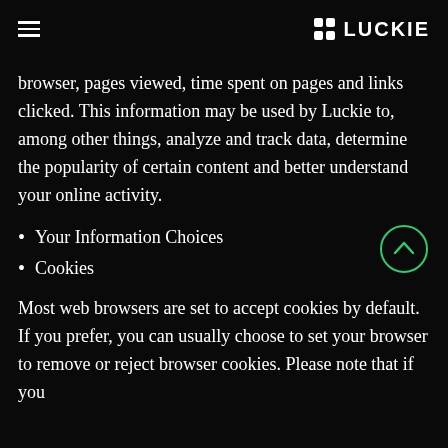≡  LUCKIE
browser, pages viewed, time spent on pages and links clicked. This information may be used by Luckie to, among other things, analyze and track data, determine the popularity of certain content and better understand your online activity.
Your Information Choices
Cookies
Most web browsers are set to accept cookies by default. If you prefer, you can usually choose to set your browser to remove or reject browser cookies. Please note that if you